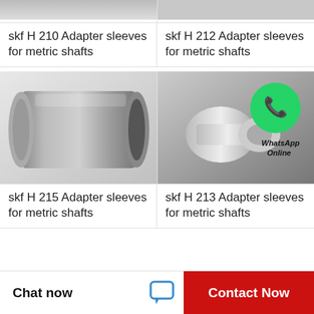[Figure (photo): Top partial image of skf H 210 adapter sleeve (cropped at top)]
[Figure (photo): Top partial image of skf H 212 adapter sleeve (cropped at top)]
skf H 210 Adapter sleeves for metric shafts
skf H 212 Adapter sleeves for metric shafts
[Figure (photo): Photo of a cylindrical skf H 215 metallic adapter sleeve bushing]
[Figure (photo): Photo of skf H 213 adapter sleeve component with WhatsApp Online overlay icon]
skf H 215 Adapter sleeves for metric shafts
skf H 213 Adapter sleeves for metric shafts
Chat now
Contact Now